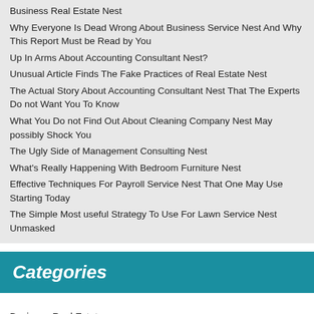Business Real Estate Nest
Why Everyone Is Dead Wrong About Business Service Nest And Why This Report Must be Read by You
Up In Arms About Accounting Consultant Nest?
Unusual Article Finds The Fake Practices of Real Estate Nest
The Actual Story About Accounting Consultant Nest That The Experts Do not Want You To Know
What You Do not Find Out About Cleaning Company Nest May possibly Shock You
The Ugly Side of Management Consulting Nest
What's Really Happening With Bedroom Furniture Nest
Effective Techniques For Payroll Service Nest That One May Use Starting Today
The Simple Most useful Strategy To Use For Lawn Service Nest Unmasked
Categories
Business Real Estate
Furniture
Real Estate